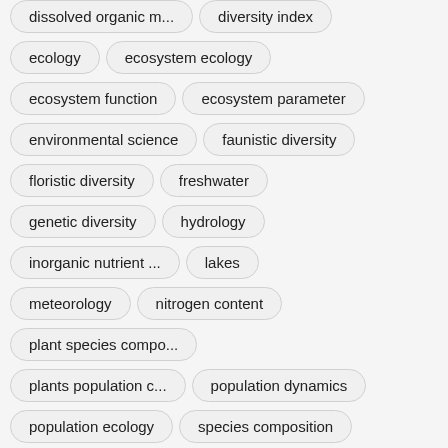dissolved organic m...
diversity index
ecology
ecosystem ecology
ecosystem function
ecosystem parameter
environmental science
faunistic diversity
floristic diversity
freshwater
genetic diversity
hydrology
inorganic nutrient ...
lakes
meteorology
nitrogen content
plant species compo...
plants population c...
population dynamics
population ecology
species composition
species diversity
species list
species presence
species richness
stage height
stream ecology
suspended solids
taxonomy